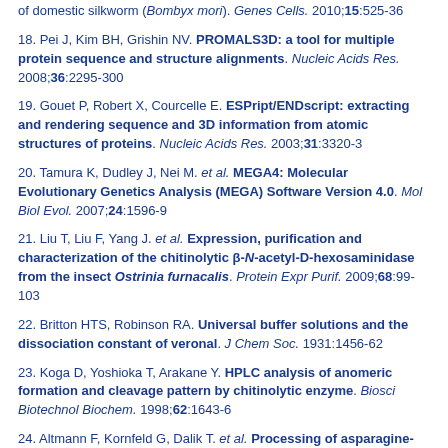of domestic silkworm (Bombyx mori). Genes Cells. 2010;15:525-36
18. Pei J, Kim BH, Grishin NV. PROMALS3D: a tool for multiple protein sequence and structure alignments. Nucleic Acids Res. 2008;36:2295-300
19. Gouet P, Robert X, Courcelle E. ESPript/ENDscript: extracting and rendering sequence and 3D information from atomic structures of proteins. Nucleic Acids Res. 2003;31:3320-3
20. Tamura K, Dudley J, Nei M. et al. MEGA4: Molecular Evolutionary Genetics Analysis (MEGA) Software Version 4.0. Mol Biol Evol. 2007;24:1596-9
21. Liu T, Liu F, Yang J. et al. Expression, purification and characterization of the chitinolytic β-N-acetyl-D-hexosaminidase from the insect Ostrinia furnacalis. Protein Expr Purif. 2009;68:99-103
22. Britton HTS, Robinson RA. Universal buffer solutions and the dissociation constant of veronal. J Chem Soc. 1931:1456-62
23. Koga D, Yoshioka T, Arakane Y. HPLC analysis of anomeric formation and cleavage pattern by chitinolytic enzyme. Biosci Biotechnol Biochem. 1998;62:1643-6
24. Altmann F, Kornfeld G, Dalik T. et al. Processing of asparagine-linked oligosaccharides in insect cells. N-acetylglucosaminyltransferase I and II activities in cultured lepidopteran cells. Glycobiology. 1993;3:619-25
25. Maier T, Strater N, Schuette C. et al. The X-ray crystal structure of